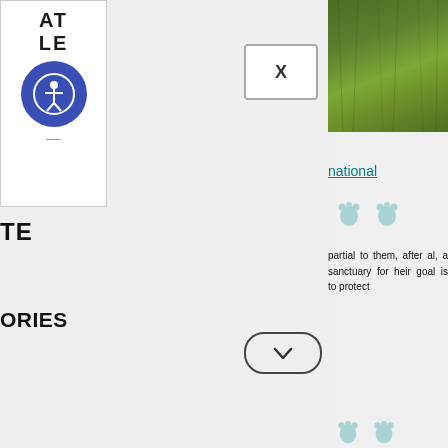[Figure (logo): Partial logo showing AT and LE text with blue circle containing accessibility icon (person in circle), and small text below]
TE
ORIES
[Figure (screenshot): X close button in a white bordered rectangle]
[Figure (screenshot): Dropdown chevron button with oval border]
[Figure (photo): Photo of green grass/meadow landscape at top right]
national
partial to them, after al, a sanctuary for heir goal is to protect
er 6, and you need to fun, if a bit spooky: es howling on their
luseum
[Figure (photo): Photo of a museum building exterior with blue sky, with teal scroll-to-top chevron button overlay]
[Figure (illustration): Teal ghost/paw print decorative icons scattered in background]